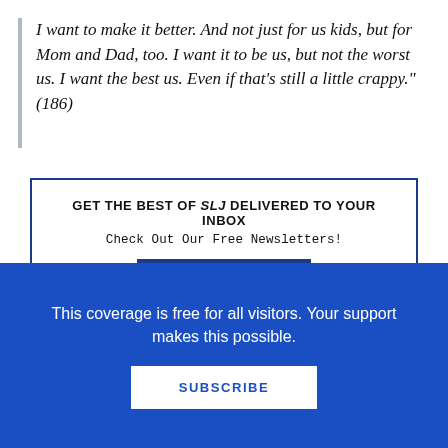I want to make it better. And not just for us kids, but for Mom and Dad, too. I want it to be us, but not the worst us. I want the best us. Even if that's still a little crappy." (186)
GET THE BEST OF SLJ DELIVERED TO YOUR INBOX
Check Out Our Free Newsletters!
LEARN MORE
Both of these books garnered October nominations
This coverage is free for all visitors. Your support makes this possible.
SUBSCRIBE